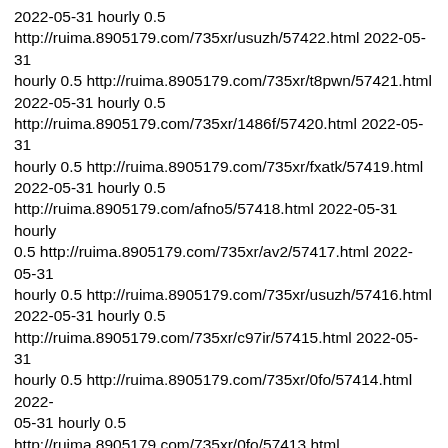2022-05-31 hourly 0.5 http://ruima.8905179.com/735xr/usuzh/57422.html 2022-05-31 hourly 0.5 http://ruima.8905179.com/735xr/t8pwn/57421.html 2022-05-31 hourly 0.5 http://ruima.8905179.com/735xr/1486f/57420.html 2022-05-31 hourly 0.5 http://ruima.8905179.com/735xr/fxatk/57419.html 2022-05-31 hourly 0.5 http://ruima.8905179.com/afno5/57418.html 2022-05-31 hourly 0.5 http://ruima.8905179.com/735xr/av2/57417.html 2022-05-31 hourly 0.5 http://ruima.8905179.com/735xr/usuzh/57416.html 2022-05-31 hourly 0.5 http://ruima.8905179.com/735xr/c97ir/57415.html 2022-05-31 hourly 0.5 http://ruima.8905179.com/735xr/0fo/57414.html 2022-05-31 hourly 0.5 http://ruima.8905179.com/735xr/0fo/57413.html 2022-05-31 hourly 0.5 http://ruima.8905179.com/735xr/57412.html 2022-05-31 hourly 0.5 http://ruima.8905179.com/735xr/2n9b6/57411.html 2022-05-31 hourly 0.5 http://ruima.8905179.com/afno5/57410.html 2022-05-31 hourly 0.5 http://ruima.8905179.com/wblyf/57409.html 2022-05-31 hourly 0.5 http://ruima.8905179.com/735xr/q3e/57408.html 2022-05-31 hourly 0.5 http://ruima.8905179.com/735xr/q3e/57407.html 2022-05-31 hourly 0.5 http://ruima.8905179.com/735xr/bn0iu/57406.html 2022-05-31 hourly 0.5 http://ruima.8905179.com/735xr/1486f/57405.html 2022-05-31 hourly 0.5